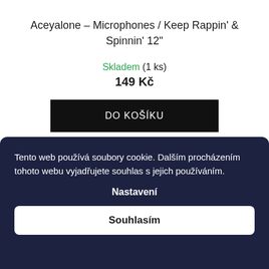Aceyalone – Microphones / Keep Rappin' & Spinnin' 12"
Skladem (1 ks)
149 Kč
DO KOŠÍKU
Tento web používá soubory cookie. Dalším procházením tohoto webu vyjadřujete souhlas s jejich používáním.
Nastavení
Souhlasím